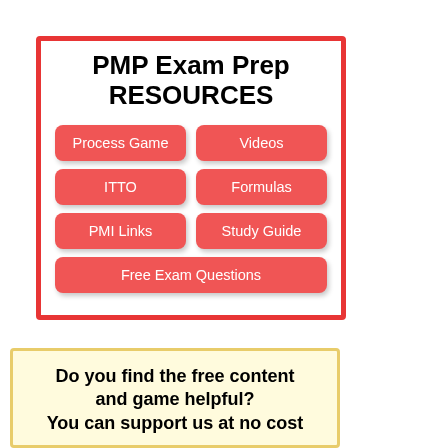[Figure (infographic): PMP Exam Prep Resources box with red border containing title and 6 red buttons: Process Game, Videos, ITTO, Formulas, PMI Links, Study Guide, Free Exam Questions]
Do you find the free content and game helpful? You can support us at no cost